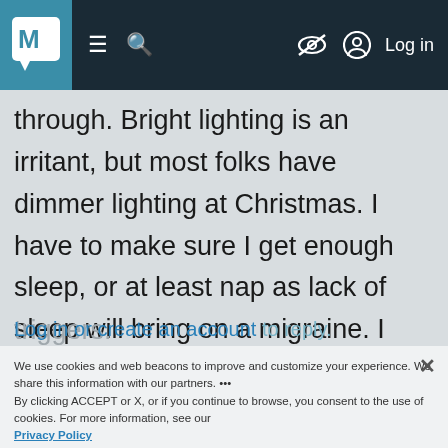M [logo] ☰ 🔍 [no-eye icon] Log in
through. Bright lighting is an irritant, but most folks have dimmer lighting at Christmas. I have to make sure I get enough sleep, or at least nap as lack of sleep will bring on a migraine. I have no control over the weather, but do have control over avoiding other
triggers.
We use cookies and web beacons to improve and customize your experience. We share this information with our partners. By clicking ACCEPT or X, or if you continue to browse, you consent to the use of cookies. For more information, see our Privacy Policy
Log in or create an account to reply.
Active 5 days ago
How do you cope with a migraine?